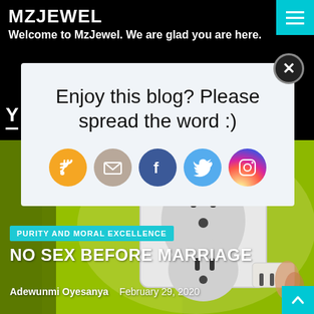MZJEWEL
Welcome to MzJewel. We are glad you are here.
Enjoy this blog? Please spread the word :)
[Figure (infographic): Five social media share icons: RSS (orange), Email (tan), Facebook (blue), Twitter (light blue), Instagram (gradient)]
[Figure (photo): Photo of an electrical outlet with a plug being inserted, on a green-yellow background]
PURITY AND MORAL EXCELLENCE
NO SEX BEFORE MARRIAGE
Adewunmi Oyesanya   February 29, 2020